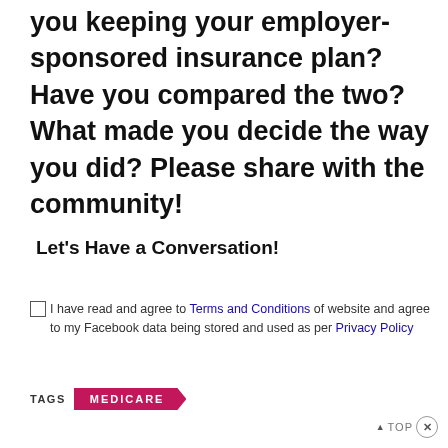you keeping your employer-sponsored insurance plan? Have you compared the two? What made you decide the way you did? Please share with the community!
Let's Have a Conversation!
I have read and agree to Terms and Conditions of website and agree to my Facebook data being stored and used as per Privacy Policy
TAGS  MEDICARE